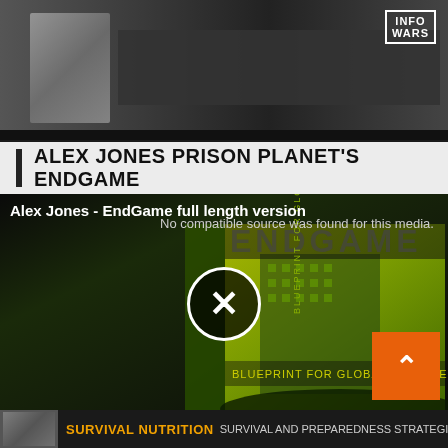[Figure (screenshot): Top banner with dark background showing a baby/child figure on the left and dark rectangular shapes, with INFOWARS logo in top-right corner]
ALEX JONES PRISON PLANET'S ENDGAME
[Figure (screenshot): Video player showing Endgame Blueprint for Global Enslavement movie poster with green/yellow color scheme and UN building. Video title 'Alex Jones - EndGame full length version' shown with 'No compatible source was found for this media.' error message and X close button. Orange scroll-to-top button in bottom right.]
SURVIVAL NUTRITION SURVIVAL AND PREPAREDNESS STRATEGIES TO SURVIVE ALMOST ANYTI